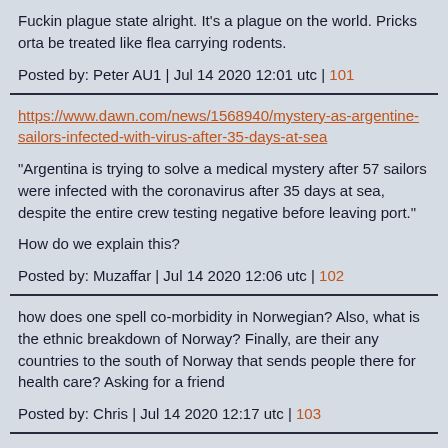Fuckin plague state alright. It's a plague on the world. Pricks orta be treated like flea carrying rodents.
Posted by: Peter AU1 | Jul 14 2020 12:01 utc | 101
https://www.dawn.com/news/1568940/mystery-as-argentine-sailors-infected-with-virus-after-35-days-at-sea
"Argentina is trying to solve a medical mystery after 57 sailors were infected with the coronavirus after 35 days at sea, despite the entire crew testing negative before leaving port."
How do we explain this?
Posted by: Muzaffar | Jul 14 2020 12:06 utc | 102
how does one spell co-morbidity in Norwegian? Also, what is the ethnic breakdown of Norway? Finally, are their any countries to the south of Norway that sends people there for health care? Asking for a friend
Posted by: Chris | Jul 14 2020 12:17 utc | 103
b my payment to you has been delayed due to lockdown